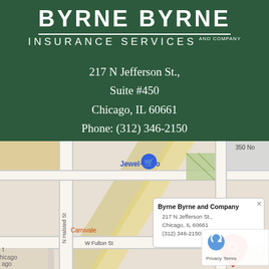BYRNE BYRNE AND COMPANY INSURANCE SERVICES
217 N Jefferson St.,
Suite #450
Chicago, IL 60661
Phone: (312) 346-2150
mattb@byrnebyrne.com
[Figure (map): Google Maps screenshot showing the location of Byrne Byrne and Company at 217 N Jefferson St., Chicago, IL 60661, with a map popup showing business name, address, and phone (312) 346-2150. Nearby landmarks include Jewel-Osco, Alta at K Station, Carnivale, W Fulton St, N Halsted St.]